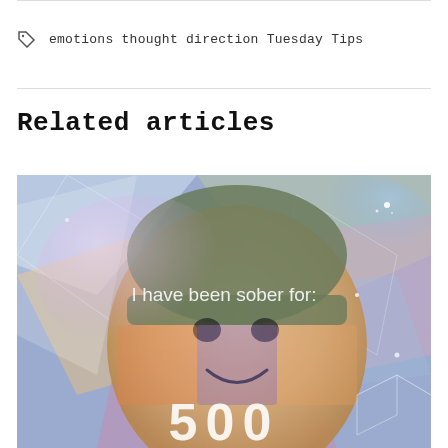emotions thought direction Tuesday Tips
Related articles
[Figure (photo): A smiling woman wearing a beanie hat with a colorful artistic overlay and text reading 'I have been sober for:' and the number 500 at the bottom]